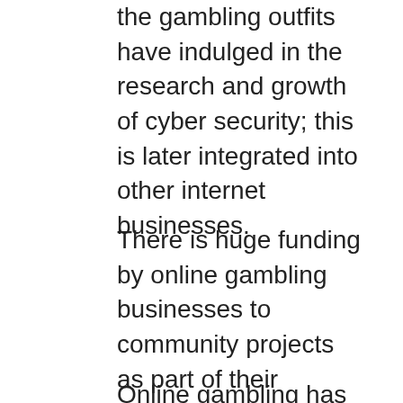the gambling outfits have indulged in the research and growth of cyber security; this is later integrated into other internet businesses.
There is huge funding by online gambling businesses to community projects as part of their corporate responsibility. The funds are used in improving education, rehabilitation, health and the infrastructure among others. In the infrastructure, they are mostly concerned with the development of communication systems so that more people can access the internet and enroll for online betting.
Online gambling has come with